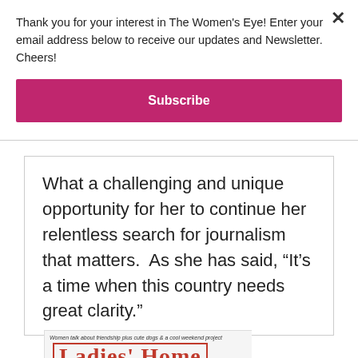Thank you for your interest in The Women's Eye! Enter your email address below to receive our updates and Newsletter. Cheers!
Subscribe
What a challenging and unique opportunity for her to continue her relentless search for journalism that matters.  As she has said, “It’s a time when this country needs great clarity.”
[Figure (photo): Partial view of a Ladies' Home Journal magazine cover showing a woman's face and text 'Women talk about friendship plus cute dogs & a cool weekend project']